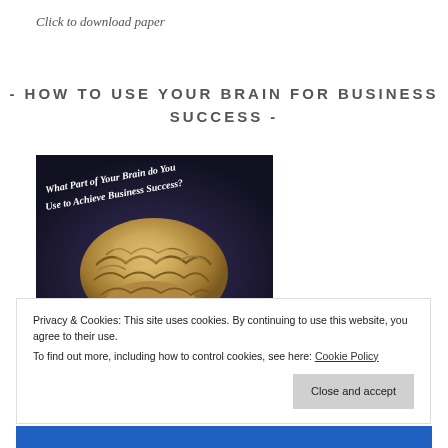Click to download paper
- HOW TO USE YOUR BRAIN FOR BUSINESS SUCCESS -
[Figure (photo): A realistic 3D rendered human brain on a dark background with italic white text reading 'What Part of Your Brain do You Use to Achieve Business Success?']
Privacy & Cookies: This site uses cookies. By continuing to use this website, you agree to their use.
To find out more, including how to control cookies, see here: Cookie Policy
Close and accept